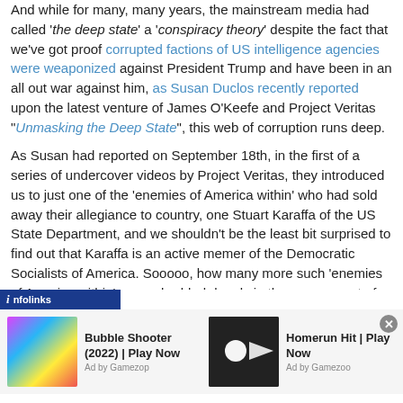And while for many, many years, the mainstream media had called 'the deep state' a 'conspiracy theory' despite the fact that we've got proof corrupted factions of US intelligence agencies were weaponized against President Trump and have been in an all out war against him, as Susan Duclos recently reported upon the latest venture of James O'Keefe and Project Veritas "Unmasking the Deep State", this web of corruption runs deep.
As Susan had reported on September 18th, in the first of a series of undercover videos by Project Veritas, they introduced us to just one of the 'enemies of America within' who had sold away their allegiance to country, one Stuart Karaffa of the US State Department, and we shouldn't be the least bit surprised to find out that Karaffa is an active memer of the Democratic Socialists of America. Sooooo, how many more such 'enemies of America within' are embedded deeply in the government of President Donald Trump?
[Figure (other): Advertisement banner with infolinks label and two game ads: Bubble Shooter (2022) Play Now and Homerun Hit Play Now, both Ad by Gamezop]